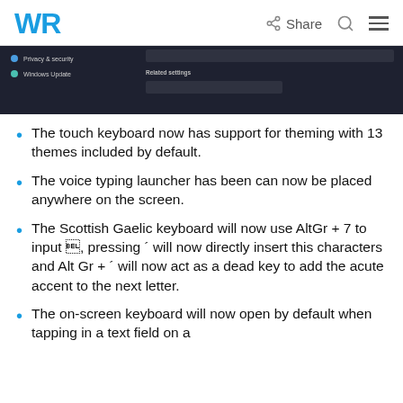WR | Share
[Figure (screenshot): Windows Settings screenshot showing Privacy & security and Windows Update options on the left, Related settings on the right, dark background]
The touch keyboard now has support for theming with 13 themes included by default.
The voice typing launcher has been can now be placed anywhere on the screen.
The Scottish Gaelic keyboard will now use AltGr + 7 to input ẕ, pressing ´ will now directly insert this characters and Alt Gr + ´ will now act as a dead key to add the acute accent to the next letter.
The on-screen keyboard will now open by default when tapping in a text field on a